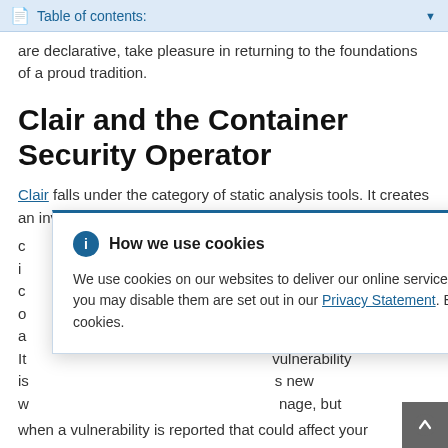Table of contents:
are declarative, take pleasure in returning to the foundations of a proud tradition.
Clair and the Container Security Operator
Clair falls under the category of static analysis tools. It creates an inventory of all dependencies used by a container image, ...
How we use cookies

We use cookies on our websites to deliver our online services. Details about how we use cookies and how you may disable them are set out in our Privacy Statement. By using this website you agree to our use of cookies.
when a vulnerability is reported that could affect your